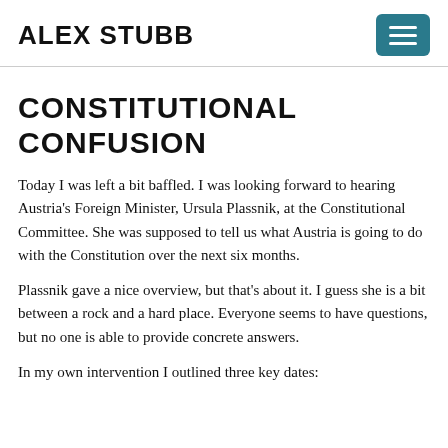ALEX STUBB
CONSTITUTIONAL CONFUSION
Today I was left a bit baffled. I was looking forward to hearing Austria's Foreign Minister, Ursula Plassnik, at the Constitutional Committee. She was supposed to tell us what Austria is going to do with the Constitution over the next six months.
Plassnik gave a nice overview, but that's about it. I guess she is a bit between a rock and a hard place. Everyone seems to have questions, but no one is able to provide concrete answers.
In my own intervention I outlined three key dates: